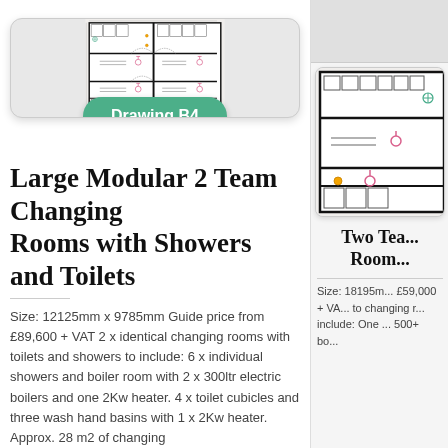[Figure (engineering-diagram): Floor plan drawing of Large Modular 2 Team Changing Rooms with Showers and Toilets, labeled Drawing B4]
Drawing B4
Large Modular 2 Team Changing Rooms with Showers and Toilets
Size: 12125mm x 9785mm Guide price from £89,600 + VAT 2 x identical changing rooms with toilets and showers to include: 6 x individual showers and boiler room with 2 x 300ltr electric boilers and one 2Kw heater. 4 x toilet cubicles and three wash hand basins with 1 x 2Kw heater. Approx. 28 m2 of changing
[Figure (engineering-diagram): Partial floor plan drawing of Two Team Changing Rooms (partially visible on right side)]
Two Tea... Room...
Size: 18195m... £59,000 + VA... to changing r... include: One ... 500+ bo...